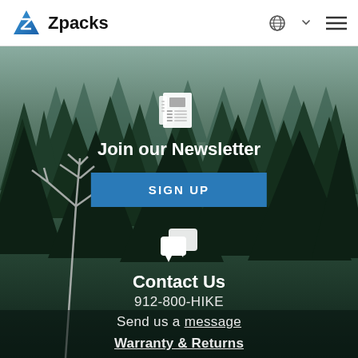Zpacks
Join our Newsletter
SIGN UP
Contact Us
912-800-HIKE
Send us a message
Warranty & Returns